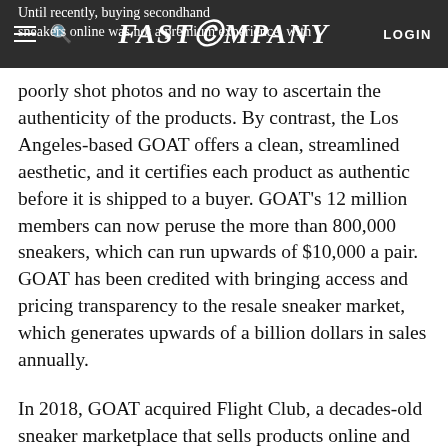FAST COMPANY
Until recently, buying secondhand sneakers online was not a premium experience, with poorly shot photos and no way to ascertain the authenticity of the products. By contrast, the Los Angeles-based GOAT offers a clean, streamlined aesthetic, and it certifies each product as authentic before it is shipped to a buyer. GOAT's 12 million members can now peruse the more than 800,000 sneakers, which can run upwards of $10,000 a pair. GOAT has been credited with bringing access and pricing transparency to the resale sneaker market, which generates upwards of a billion dollars in sales annually.
In 2018, GOAT acquired Flight Club, a decades-old sneaker marketplace that sells products online and in several retail stores in Los Angeles and New York. GOAT raised a $60 Series C round, and then in February 2019, it earned a $100 million strategic